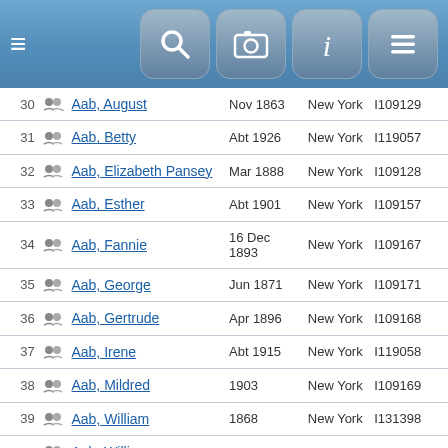[Figure (screenshot): Mobile app top bar with hamburger menu icon and four icon buttons (search, camera, info, menu)]
| # | Name | Birth Date | Birth Place | ID |
| --- | --- | --- | --- | --- |
| 30 | Aab, August | Nov 1863 | New York | I109129 |
| 31 | Aab, Betty | Abt 1926 | New York | I119057 |
| 32 | Aab, Elizabeth Pansey | Mar 1888 | New York | I109128 |
| 33 | Aab, Esther | Abt 1901 | New York | I109157 |
| 34 | Aab, Fannie | 16 Dec 1893 | New York | I109167 |
| 35 | Aab, George | Jun 1871 | New York | I109171 |
| 36 | Aab, Gertrude | Apr 1896 | New York | I109168 |
| 37 | Aab, Irene | Abt 1915 | New York | I119058 |
| 38 | Aab, Mildred | 1903 | New York | I109169 |
| 39 | Aab, William | 1868 | New York | I131398 |
| 40 | Aab, William | Sep 1891 | New York | I109134 |